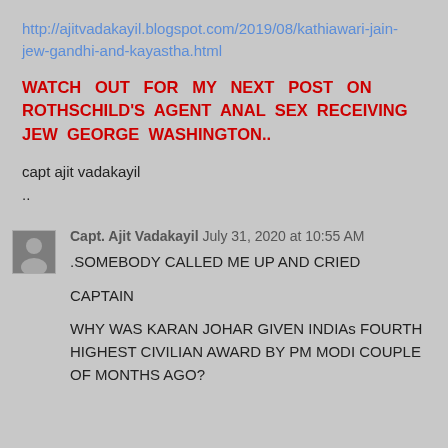http://ajitvadakayil.blogspot.com/2019/08/kathiawari-jain-jew-gandhi-and-kayastha.html
WATCH OUT FOR MY NEXT POST ON ROTHSCHILD'S AGENT ANAL SEX RECEIVING JEW GEORGE WASHINGTON..
capt ajit vadakayil
..
Capt. Ajit Vadakayil July 31, 2020 at 10:55 AM
.SOMEBODY CALLED ME UP AND CRIED

CAPTAIN

WHY WAS KARAN JOHAR GIVEN INDIAs FOURTH HIGHEST CIVILIAN AWARD BY PM MODI COUPLE OF MONTHS AGO?